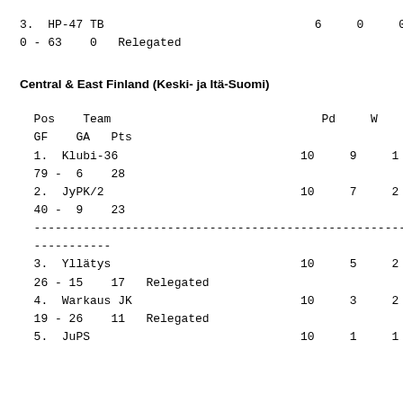| Pos | Team | Pd | W | D | L | GF | GA | Pts |
| --- | --- | --- | --- | --- | --- | --- | --- | --- |
| 3. | HP-47 TB | 6 | 0 | 0 | 6 | 0 | - | 63 | 0 | Relegated |
Central & East Finland (Keski- ja Itä-Suomi)
| Pos | Team | Pd | W | D | L | GF | GA | Pts |
| --- | --- | --- | --- | --- | --- | --- | --- | --- |
| 1. | Klubi-36 | 10 | 9 | 1 | 0 | 79 | - | 6 | 28 |  |
| 2. | JyPK/2 | 10 | 7 | 2 | 1 | 40 | - | 9 | 23 |  |
| ---separator--- |
| 3. | Yllätys | 10 | 5 | 2 | 3 | 26 | - | 15 | 17 | Relegated |
| 4. | Warkaus JK | 10 | 3 | 2 | 5 | 19 | - | 26 | 11 | Relegated |
| 5. | JuPS | 10 | 1 | 1 | 8 |  |  |  |  |  |